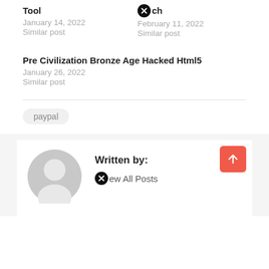Tool
January 14, 2022
Similar post
[close icon]ch
February 11, 2022
Similar post
Pre Civilization Bronze Age Hacked Html5
January 26, 2022
Similar post
paypal
Written by:
[close icon]ew All Posts